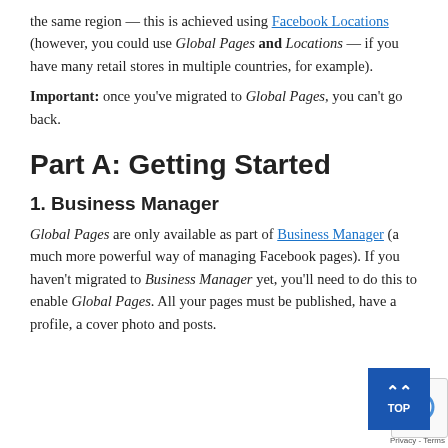the same region — this is achieved using Facebook Locations (however, you could use Global Pages and Locations — if you have many retail stores in multiple countries, for example).
Important: once you've migrated to Global Pages, you can't go back.
Part A: Getting Started
1. Business Manager
Global Pages are only available as part of Business Manager (a much more powerful way of managing Facebook pages). If you haven't migrated to Business Manager yet, you'll need to do this to enable Global Pages. All your pages must be published, have a profile, a cover photo and posts.